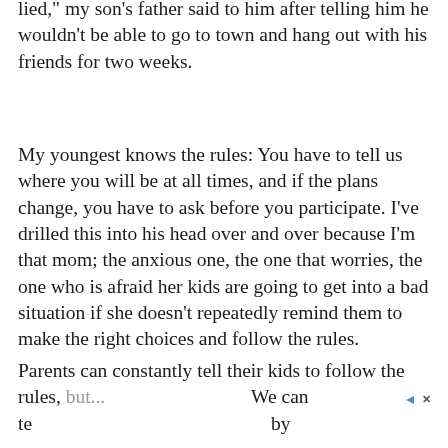You have to tell us where you are going, and you lied," my son's father said to him after telling him he wouldn't be able to go to town and hang out with his friends for two weeks.
My youngest knows the rules: You have to tell us where you will be at all times, and if the plans change, you have to ask before you participate. I've drilled this into his head over and over because I'm that mom; the anxious one, the one that worries, the one who is afraid her kids are going to get into a bad situation if she doesn't repeatedly remind them to make the right choices and follow the rules.
Parents can constantly tell their kids to follow the rules, but... We can tell them by...
[Figure (other): Advertisement banner for Capital Home Show, Sept. 23-25, Dulles Expo Center. Save $3 Now. Buy Now button. Red background with yellow accent text.]